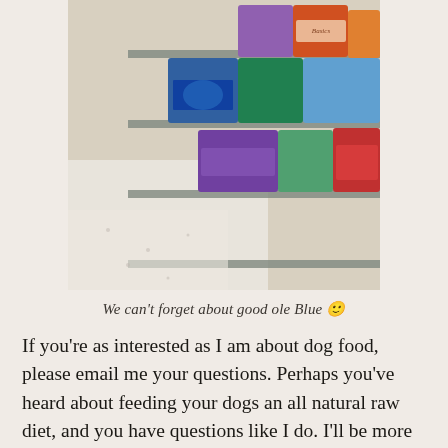[Figure (photo): Photo of a pet store aisle showing shelves stocked with various bags of dog food, including brands visible such as Basics. The floor is a speckled linoleum. Multiple colorful bags of dry dog food are stacked on metal shelving.]
We can't forget about good ole Blue 🙂
If you're as interested as I am about dog food, please email me your questions. Perhaps you've heard about feeding your dogs an all natural raw diet, and you have questions like I do. I'll be more than happy to ask them to the appropriate people while I'm conducting my interviews during Super Zoo…